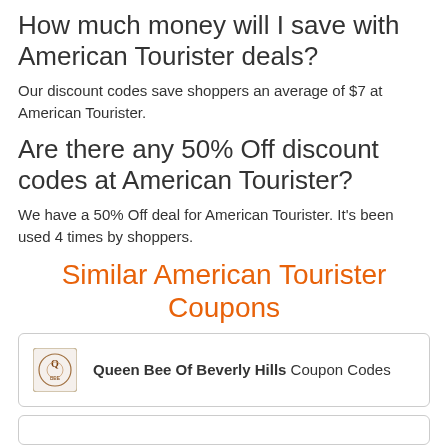How much money will I save with American Tourister deals?
Our discount codes save shoppers an average of $7 at American Tourister.
Are there any 50% Off discount codes at American Tourister?
We have a 50% Off deal for American Tourister. It's been used 4 times by shoppers.
Similar American Tourister Coupons
Queen Bee Of Beverly Hills Coupon Codes